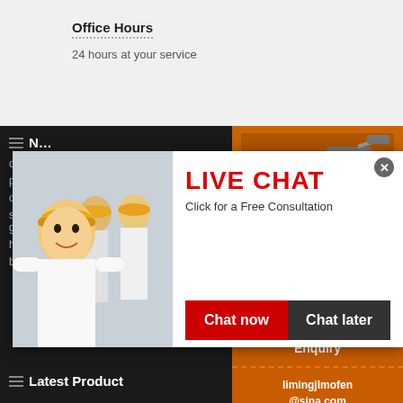Office Hours
24 hours at your service
[Figure (screenshot): Live chat popup overlay with construction workers in hard hats, LIVE CHAT heading in red, Click for a Free Consultation subtitle, Chat now (red button) and Chat later (dark button)]
[Figure (infographic): Orange sidebar with industrial crusher machine images, Enjoy 3% discount in yellow bar, Click to Chat in yellow text, Enquiry button, limingjlmofen@sina.com email]
ore cr…
pollut…
ore cr…
stone crushers followingstone crushers for go…
home made electric concrete screed
ball mill pe en venezuela
Latest Product